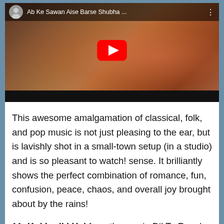[Figure (screenshot): YouTube video thumbnail for 'Ab Ke Sawan Aise Barse Shubha...' showing a woman in red singing with a YouTube play button overlay and a channel avatar icon in the top-left corner]
This awesome amalgamation of classical, folk, and pop music is not just pleasing to the ear, but is lavishly shot in a small-town setup (in a studio) and is so pleasant to watch! sense. It brilliantly shows the perfect combination of romance, fun, confusion, peace, chaos, and overall joy brought about by the rains!
11. Koi Ladki Hai from the movie Dil To Pagal Hai